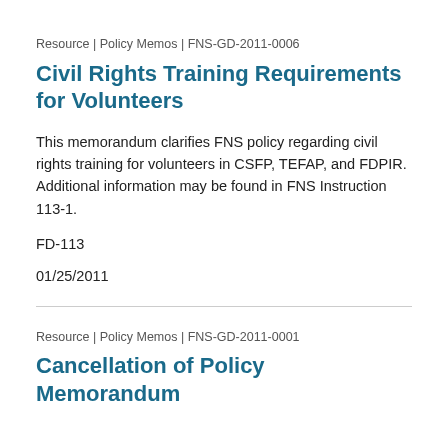Resource | Policy Memos | FNS-GD-2011-0006
Civil Rights Training Requirements for Volunteers
This memorandum clarifies FNS policy regarding civil rights training for volunteers in CSFP, TEFAP, and FDPIR. Additional information may be found in FNS Instruction 113-1.
FD-113
01/25/2011
Resource | Policy Memos | FNS-GD-2011-0001
Cancellation of Policy Memorandum